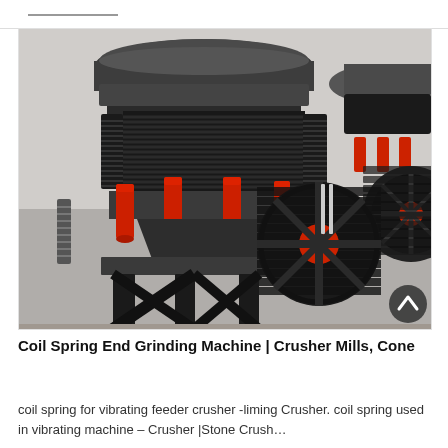[Figure (photo): Industrial cone crusher / coil spring end grinding machine photographed in a factory setting. The machine features large black coil springs around the upper cone section, multiple red hydraulic cylinders in the middle, a black steel frame base, and a large black and red pulley/flywheel on the right side. A second similar machine is partially visible in the background on the right.]
Coil Spring End Grinding Machine | Crusher Mills, Cone
coil spring for vibrating feeder crusher -liming Crusher. coil spring used in vibrating machine – Crusher |Stone Crush…